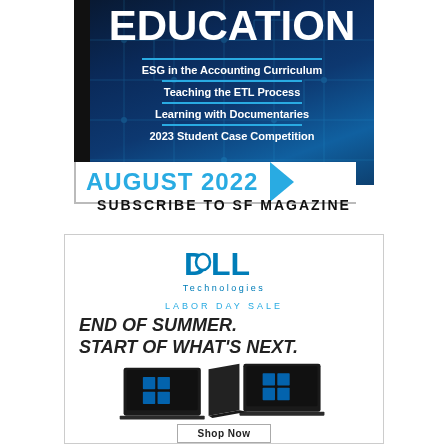[Figure (illustration): Magazine cover for 'Education' with dark blue circuit board background. Text items: 'EDUCATION', 'ESG in the Accounting Curriculum', 'Teaching the ETL Process', 'Learning with Documentaries', '2023 Student Case Competition']
AUGUST 2022
SUBSCRIBE TO SF MAGAZINE
[Figure (illustration): Dell Technologies advertisement. Labor Day Sale. END OF SUMMER. START OF WHAT'S NEXT. Shows two Dell laptops. Shop Now button.]